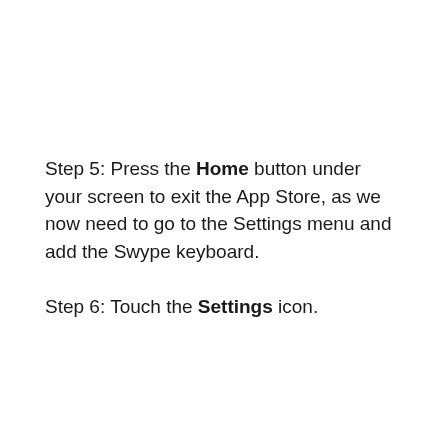Step 5: Press the Home button under your screen to exit the App Store, as we now need to go to the Settings menu and add the Swype keyboard.
Step 6: Touch the Settings icon.